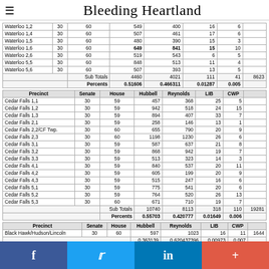Bleeding Heartland
| Precinct | Senate | House | Hubbell | Reynolds | LIB | CWP |  |
| --- | --- | --- | --- | --- | --- | --- | --- |
| Waterloo 1,2 | 30 | 60 | 549 | 400 | 16 | 6 |  |
| Waterloo 1,4 | 30 | 60 | 507 | 461 | 17 | 6 |  |
| Waterloo 1,5 | 30 | 60 | 480 | 390 | 15 | 3 |  |
| Waterloo 1,6 | 30 | 60 | 649 | 841 | 15 | 10 |  |
| Waterloo 2,6 | 30 | 60 | 519 | 543 | 6 | 5 |  |
| Waterloo 5,5 | 30 | 60 | 848 | 513 | 11 | 4 |  |
| Waterloo 5,6 | 30 | 60 | 507 | 393 | 13 | 5 |  |
|  |  | Sub Totals | 4460 | 4021 | 111 | 41 | 8623 |
|  |  | Percents | 0.51606 | 0.466311 | 0.01287 | 0.005 |  |
| Precinct | Senate | House | Hubbell | Reynolds | LIB | CWP |
| --- | --- | --- | --- | --- | --- | --- |
| Cedar Falls 1,1 | 30 | 59 | 457 | 368 | 25 | 5 |
| Cedar Falls 1,2 | 30 | 59 | 942 | 518 | 24 | 15 |
| Cedar Falls 1,3 | 30 | 59 | 894 | 407 | 33 | 7 |
| Cedar Falls 2,1 | 30 | 59 | 258 | 146 | 13 | 1 |
| Cedar Falls 2,2/CF Twp. | 30 | 60 | 655 | 790 | 20 | 9 |
| Cedar Falls 2,3 | 30 | 60 | 1198 | 1230 | 26 | 6 |
| Cedar Falls 3,1 | 30 | 59 | 587 | 637 | 21 | 8 |
| Cedar Falls 3,2 | 30 | 59 | 868 | 942 | 19 | 7 |
| Cedar Falls 3,3 | 30 | 59 | 513 | 323 | 14 | 3 |
| Cedar Falls 4,1 | 30 | 59 | 840 | 537 | 20 | 11 |
| Cedar Falls 4,2 | 30 | 59 | 605 | 199 | 20 | 9 |
| Cedar Falls 4,3 | 30 | 59 | 515 | 247 | 16 | 6 |
| Cedar Falls 5,1 | 30 | 59 | 775 | 541 | 20 | 6 |
| Cedar Falls 5,2 | 30 | 59 | 764 | 520 | 26 | 13 |
| Cedar Falls 5,3 | 30 | 60 | 671 | 710 | 19 | 7 |
|  |  | Sub Totals | 10740 | 8113 | 318 | 110 | 19281 |
|  |  | Percents | 0.55703 | 0.420777 | 0.01649 | 0.006 |  |
| Precinct | Senate | House | Hubbell | Reynolds | LIB | CWP |
| --- | --- | --- | --- | --- | --- | --- |
| Black Hawk/Hudson/Lincoln | 30 | 60 | 597 | 1023 | 16 | 11 | 1644 |
|  |  |  | 0.363139 | 0.620437396 | 0.00973 | 0.007 |  |
|  |  |  | Hubbell | Reynolds |
| --- | --- | --- | --- | --- |
|  |  | TOTAL | 15787 | 13154 |